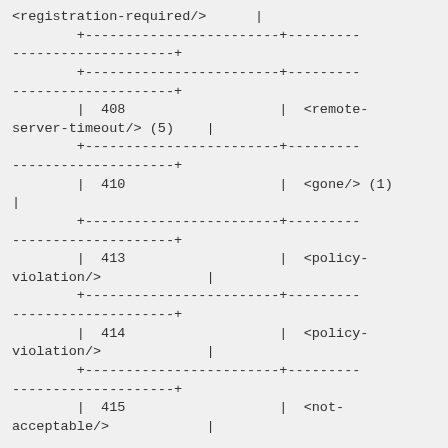ASCII table fragment showing HTTP status codes and corresponding XML elements: <registration-required/>, 408 <remote-server-timeout/> (5), 410 <gone/> (1), 413 <policy-violation/>, 414 <policy-violation/>, 415 <not-acceptable/>